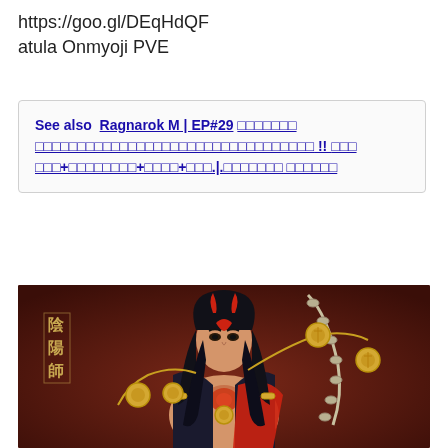https://goo.gl/DEqHdQF
atula Onmyoji PVE
See also  Ragnarok M | EP#29 □□□□□□□ □□□□□□□□□□□□□□□□□□□□□□□□□□□□□□□□□ !! □□□ □□□+□□□□□□□□+□□□□+□□□.|.□□□□□□□ □□□□□□
[Figure (illustration): Anime-style illustration of a male character with long black hair, red facial markings, wearing dark robes with red accents and gold ornaments, set against a dark reddish-brown background. Chinese characters '陰陽師' visible on the left side.]